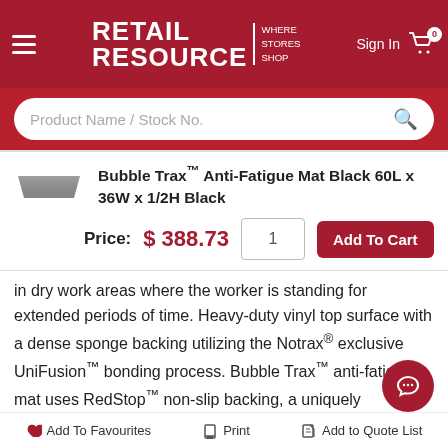RETAIL RESOURCE | WHERE STORES SHOP
Product Name / Stock No.
Bubble Trax™ Anti-Fatigue Mat Black 60L x 36W x 1/2H Black
Price: $ 388.73
in dry work areas where the worker is standing for extended periods of time. Heavy-duty vinyl top surface with a dense sponge backing utilizing the Notrax® exclusive UniFusion™ bonding process. Bubble Trax™ anti-fatigue mat uses RedStop™ non-slip backing, a uniquely engineered technology that eliminates the slipping and sliding of Notrax floor mats. Black color will complement any decor. Bubble Trax™ anti-fatigue is made for extreme ergonomic comfort and durability.
Add To Favourites | Print | Add to Quote List